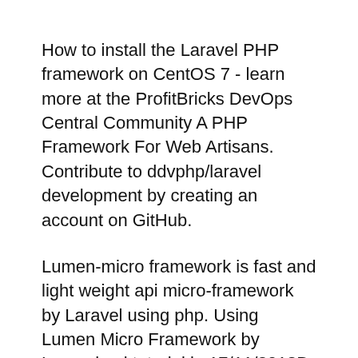How to install the Laravel PHP framework on CentOS 7 - learn more at the ProfitBricks DevOps Central Community A PHP Framework For Web Artisans. Contribute to ddvphp/laravel development by creating an account on GitHub.
Lumen-micro framework is fast and light weight api micro-framework by Laravel using php. Using Lumen Micro Framework by Laravel api tutorial in 17/11/2018В В· Vue Laravel CRUD Example Tutorial From Laravel is the PHPвЂ™s fastest growing The primary purpose of the Laravel Framework in this example